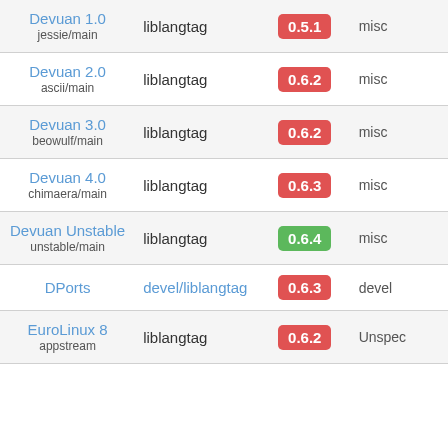| Distribution | Package | Version | Category |
| --- | --- | --- | --- |
| Devuan 1.0 jessie/main | liblangtag | 0.5.1 | misc |
| Devuan 2.0 ascii/main | liblangtag | 0.6.2 | misc |
| Devuan 3.0 beowulf/main | liblangtag | 0.6.2 | misc |
| Devuan 4.0 chimaera/main | liblangtag | 0.6.3 | misc |
| Devuan Unstable unstable/main | liblangtag | 0.6.4 | misc |
| DPorts | devel/liblangtag | 0.6.3 | devel |
| EuroLinux 8 appstream | liblangtag | 0.6.2 | Unspec |